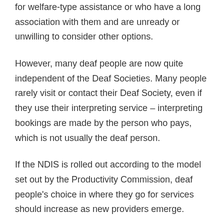for welfare-type assistance or who have a long association with them and are unready or unwilling to consider other options.
However, many deaf people are now quite independent of the Deaf Societies. Many people rarely visit or contact their Deaf Society, even if they use their interpreting service – interpreting bookings are made by the person who pays, which is not usually the deaf person.
If the NDIS is rolled out according to the model set out by the Productivity Commission, deaf people's choice in where they go for services should increase as new providers emerge.